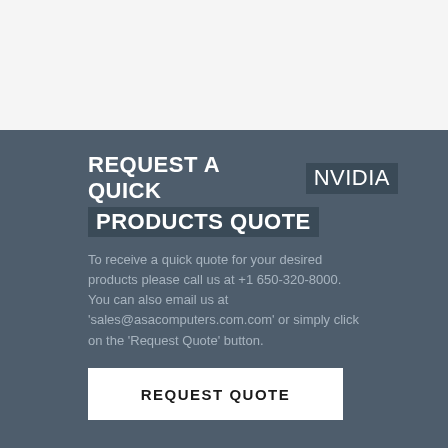REQUEST A QUICK NVIDIA PRODUCTS QUOTE
To receive a quick quote for your desired products please call us at +1 650-320-8000.
You can also email us at 'sales@asacomputers.com.com' or simply click on the 'Request Quote' button.
REQUEST QUOTE